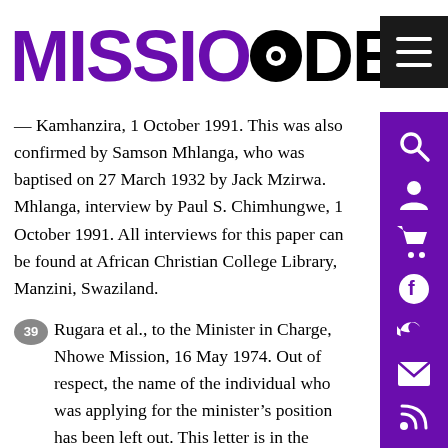[Figure (logo): Missio Dei journal logo with purple MISSIO text and black DEI text with circular mark]
— Kamhanzira, 1 October 1991. This was also confirmed by Samson Mhlanga, who was baptised on 27 March 1932 by Jack Mzirwa. Mhlanga, interview by Paul S. Chimhungwe, 1 October 1991. All interviews for this paper can be found at African Christian College Library, Manzini, Swaziland.
39 Rugara et al., to the Minister in Charge, Nhowe Mission, 16 May 1974. Out of respect, the name of the individual who was applying for the minister's position has been left out. This letter is in the researcher's possession.